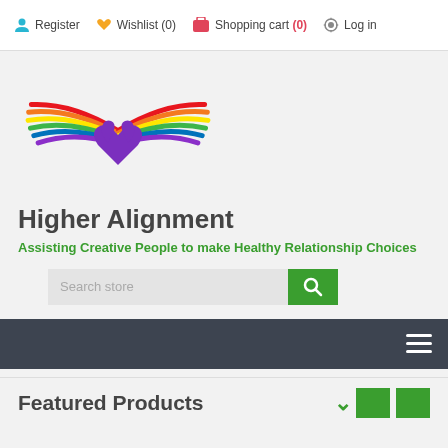Register  Wishlist (0)  Shopping cart (0)  Log in
[Figure (logo): Higher Alignment logo with rainbow wings and two purple silhouettes facing each other over a purple heart]
Higher Alignment
Assisting Creative People to make Healthy Relationship Choices
[Figure (screenshot): Search store input field with green search button]
[Figure (screenshot): Dark navigation bar with hamburger menu icon on the right]
Featured Products